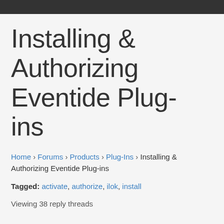Installing & Authorizing Eventide Plug-ins
Home › Forums › Products › Plug-Ins › Installing & Authorizing Eventide Plug-ins
Tagged: activate, authorize, ilok, install
Viewing 38 reply threads